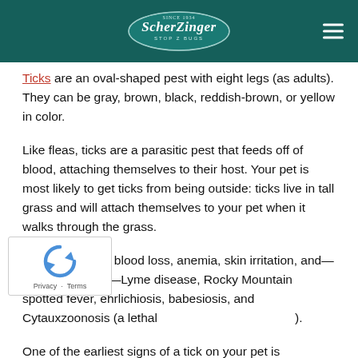ScherZinger Stop Z Bugs
Ticks are an oval-shaped pest with eight legs (as adults). They can be gray, brown, black, reddish-brown, or yellow in color.
Like fleas, ticks are a parasitic pest that feeds off of blood, attaching themselves to their host. Your pet is most likely to get ticks from being outside: ticks live in tall grass and will attach themselves to your pet when it walks through the grass.
Ticks can cause blood loss, anemia, skin irritation, and—most worryingly—Lyme disease, Rocky Mountain spotted fever, ehrlichiosis, babesiosis, and Cytauxzoonosis (a lethal ...).
One of the earliest signs of a tick on your pet is scratching